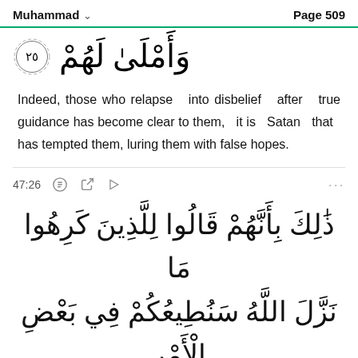Muhammad  Page 509
وَأَمْلَىٰ لَهُمْ ۞ (25)
Indeed, those who relapse into disbelief after true guidance has become clear to them, it is Satan that has tempted them, luring them with false hopes.
47:26
ذَٰلِكَ بِأَنَّهُمْ قَالُوا لِلَّذِينَ كَرِهُوا مَا نَزَّلَ اللَّهُ سَنُطِيعُكُمْ فِي بَعْضِ الْأَمْرِ